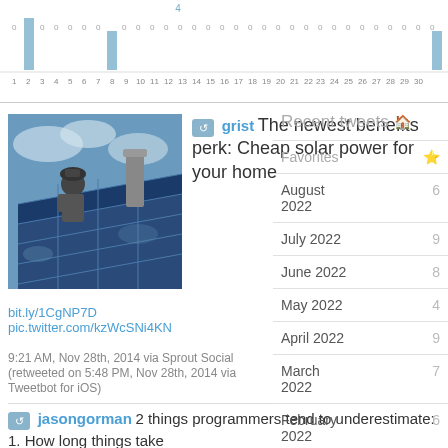[Figure (bar-chart): Activity chart]
[Figure (photo): Person installing solar panels on a rooftop]
grist The newest benefits perk: Cheap solar power for your home
bit.ly/1CgNP7D pic.twitter.com/kzWcSNi4KN
9:21 AM, Nov 28th, 2014 via Sprout Social (retweeted on 5:48 PM, Nov 28th, 2014 via Tweetbot for iOS)
jasongorman 2 things programmers tend to underestimate:
1. How long things take
2. How long our code will be around
Recent tweets
Favorites
August 2022  6
July 2022  9
June 2022  8
May 2022  4
April 2022  9
March 2022  7
February 2022  6
January 2022  7
December  ...